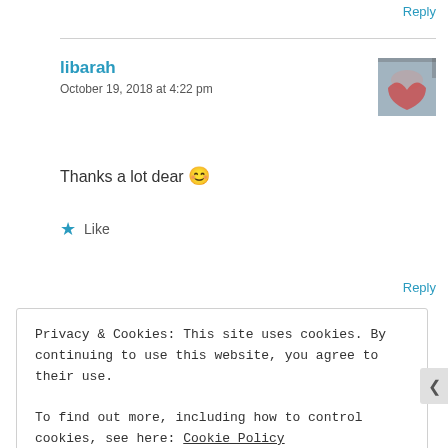Reply
libarah
October 19, 2018 at 4:22 pm
[Figure (photo): User avatar thumbnail showing a heart shape on what appears to be a hand or fabric background]
Thanks a lot dear 😊
★ Like
Reply
Privacy & Cookies: This site uses cookies. By continuing to use this website, you agree to their use.
To find out more, including how to control cookies, see here: Cookie Policy
Close and accept